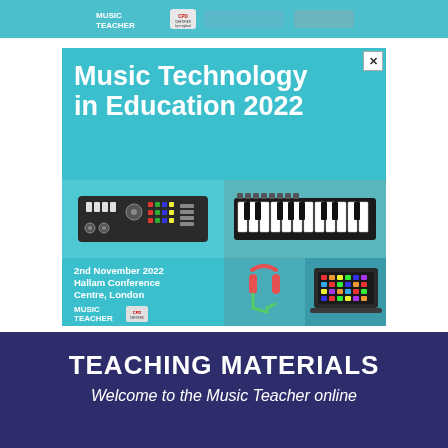[Figure (illustration): Top banner strip with Music Teacher logo and CPD certified badge on teal/blue background]
[Figure (illustration): Advertisement for Music Technology in Education 2022 conference. Teal background with bold white title text reading 'Music Technology in Education 2022'. Shows illustrations of music equipment: synthesizer/midi controller (top left), keyboard (top right), headphones (bottom center-left), and a laptop/controller (bottom right). Text reads '2nd November 2022 Hallam Conference Centre, London' with Music Teacher and CPD Certified logos. Close X button in top right corner.]
TEACHING MATERIALS
Welcome to the Music Teacher online